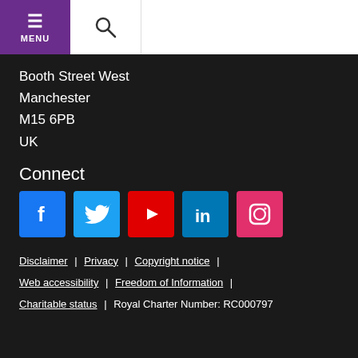[Figure (screenshot): Navigation header with purple MENU button and search icon]
Booth Street West
Manchester
M15 6PB
UK
Connect
[Figure (infographic): Social media icons: Facebook, Twitter, YouTube, LinkedIn, Instagram]
Disclaimer | Privacy | Copyright notice | Web accessibility | Freedom of Information | Charitable status | Royal Charter Number: RC000797